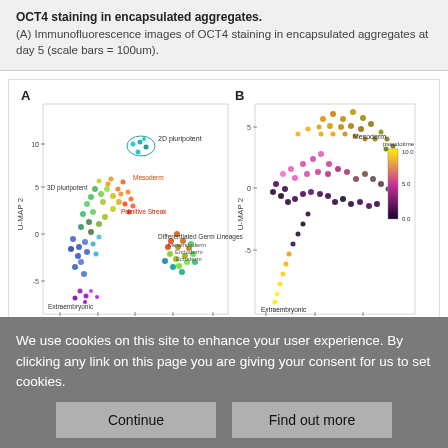OCT4 staining in encapsulated aggregates. (A) Immunofluorescence images of OCT4 staining in encapsulated aggregates at day 5 (scale bars = 100um).
[Figure (scatter-plot): Two UMAP scatter plots. Panel A: colored UMAP showing cell clusters labeled 2D pluripotent, 3D pluripotent, Mesoderm, Primitive Streak, Differentiated Germ Lineages (Mesendoderm, Endoderm, Ectoderm), Extraembryonic. Axes: U-MAP 1 (-10 to 10) and U-MAP 2 (-5 to 10). Panel B: pseudotime-colored UMAP with labels Mesoderm and Extraembryonic; pseudotime color scale 0.0 to 10.0. Axes: U-MAP 1 (-10 to 0) and U-MAP 2 (-5 to 5).]
We use cookies on this site to enhance your user experience. By clicking any link on this page you are giving your consent for us to set cookies.